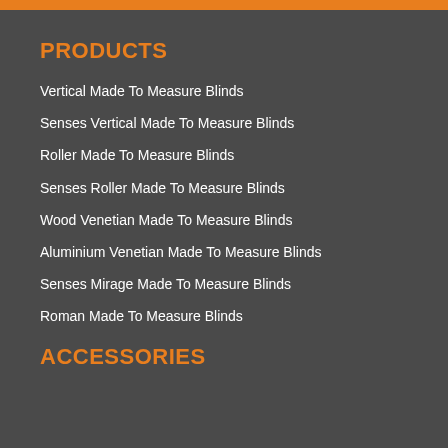PRODUCTS
Vertical Made To Measure Blinds
Senses Vertical Made To Measure Blinds
Roller Made To Measure Blinds
Senses Roller Made To Measure Blinds
Wood Venetian Made To Measure Blinds
Aluminium Venetian Made To Measure Blinds
Senses Mirage Made To Measure Blinds
Roman Made To Measure Blinds
ACCESSORIES